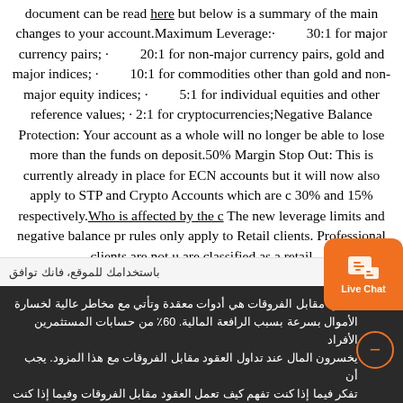document can be read here but below is a summary of the main changes to your account.Maximum Leverage:· 30:1 for major currency pairs; · 20:1 for non-major currency pairs, gold and major indices; · 10:1 for commodities other than gold and non-major equity indices; · 5:1 for individual equities and other reference values; · 2:1 for cryptocurrencies;Negative Balance Protection: Your account as a whole will no longer be able to lose more than the funds on deposit.50% Margin Stop Out: This is currently already in place for ECN accounts but it will now also apply to STP and Crypto Accounts which are c... 30% and 15% respectively.Who is affected by the c... The new leverage limits and negative balance pr... rules only apply to Retail clients. Professional clients are not ... u are classified as a retail
باستخدامك للموقع، فانك توافق
العقود مقابل الفروقات هي أدوات معقدة وتأتي مع مخاطر عالية لخسارة الأموال بسرعة بسبب الرافعة المالية. 60٪ من حسابات المستثمرين الأفراد يخسرون المال عند تداول العقود مقابل الفروقات مع هذا المزود. يجب أن تفكر فيما إذا كنت تفهم كيف تعمل العقود مقابل الفروقات وفيما إذا كنت تستطيع تحمل مخاطر عالية قد تنسب في خسارة أموالك.